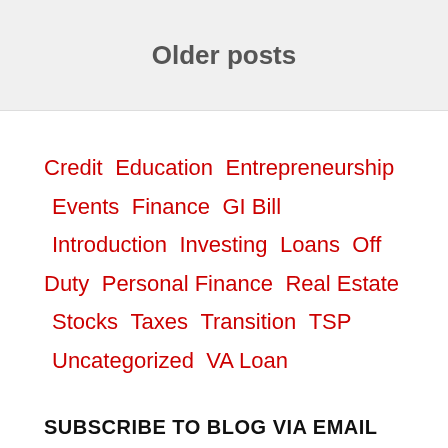Older posts
Credit  Education  Entrepreneurship  Events  Finance  GI Bill  Introduction  Investing  Loans  Off Duty  Personal Finance  Real Estate  Stocks  Taxes  Transition  TSP  Uncategorized  VA Loan
SUBSCRIBE TO BLOG VIA EMAIL
Enter your email address to subscribe to this blog and receive notifications of new posts by email.